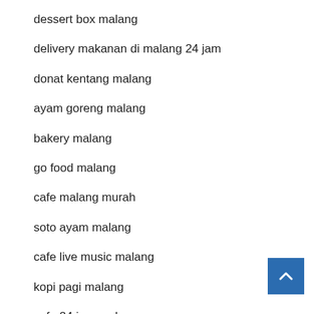dessert box malang
delivery makanan di malang 24 jam
donat kentang malang
ayam goreng malang
bakery malang
go food malang
cafe malang murah
soto ayam malang
cafe live music malang
kopi pagi malang
cafe 24 jam malang